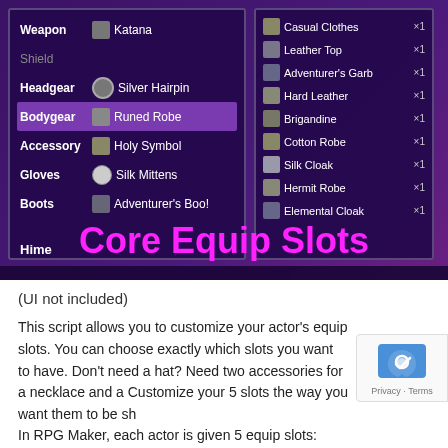[Figure (screenshot): RPG game equipment screen showing equip slots UI with left panel listing Weapon (Katana), Shield (empty), Headgear (Silver Hairpin), Bodygear (Runed Robe - highlighted), Accessory (Holy Symbol), Gloves (Silk Mittens), Boots (Adventurer's Boots), and Hime character label. Right panel shows inventory list: Casual Clothes x1, Leather Top x1, Adventurer's Garb x1, Hard Leather x1, Brigandine x1, Cotton Robe x1, Silk Cloak x1, Hermit Robe x1, Elemental Cloak x1. Large magenta title text reads 'Core Equip Slots' overlaid at the bottom of the screenshot.]
(UI not included)
This script allows you to customize your actor's equip slots. You can choose exactly which slots you want to have. Don't need a hat? Need two accessories for a necklace and a Customize your 5 slots the way you want them to be sh
In RPG Maker, each actor is given 5 equip slots: